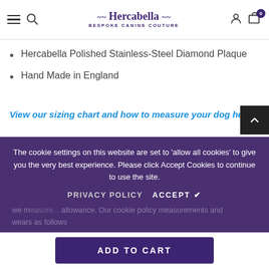Hercabella – Bespoke Canine Couture
Hercabella Polished Stainless-Steel Diamond Plaque
Hand Made in England
View our sizing chart and how to measure your dog here
The cookie settings on this website are set to 'allow all cookies' to give you the very best experience. Please click Accept Cookies to continue to use the site.
PRIVACY POLICY   ACCEPT ✔
we n... allowance. Our cookie policy measurements and wears as follows
ADD TO CART